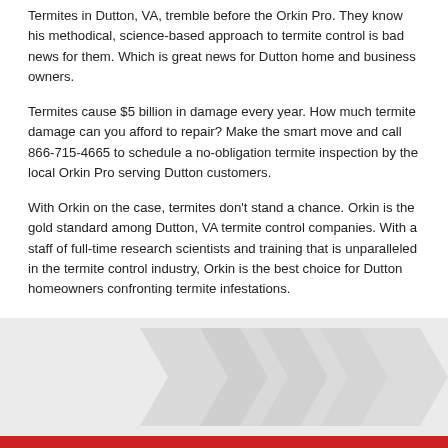Termites in Dutton, VA, tremble before the Orkin Pro. They know his methodical, science-based approach to termite control is bad news for them. Which is great news for Dutton home and business owners.
Termites cause $5 billion in damage every year. How much termite damage can you afford to repair? Make the smart move and call 866-715-4665 to schedule a no-obligation termite inspection by the local Orkin Pro serving Dutton customers.
With Orkin on the case, termites don't stand a chance. Orkin is the gold standard among Dutton, VA termite control companies. With a staff of full-time research scientists and training that is unparalleled in the termite control industry, Orkin is the best choice for Dutton homeowners confronting termite infestations.
[Figure (illustration): Gray chevron/arrow shapes on a light gray background with a red bar at the bottom]